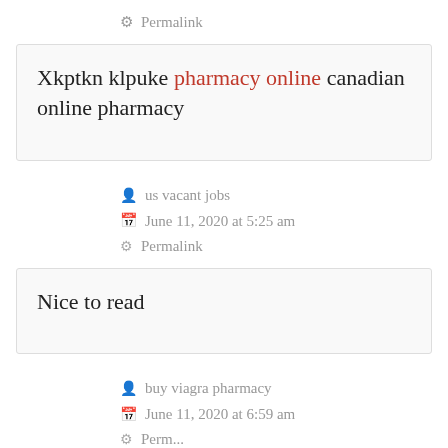Permalink
Xkptkn klpuke pharmacy online canadian online pharmacy
us vacant jobs
June 11, 2020 at 5:25 am
Permalink
Nice to read
buy viagra pharmacy
June 11, 2020 at 6:59 am
Permalink